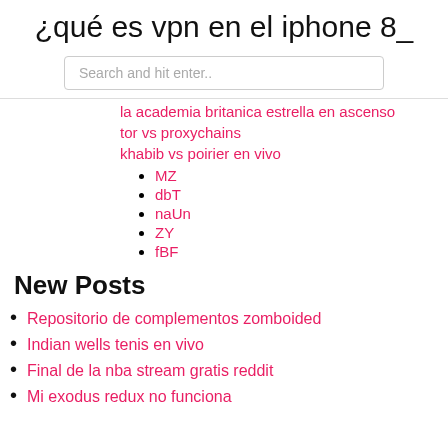¿qué es vpn en el iphone 8_
Search and hit enter..
la academia britanica estrella en ascenso
tor vs proxychains
khabib vs poirier en vivo
MZ
dbT
naUn
ZY
fBF
New Posts
Repositorio de complementos zomboided
Indian wells tenis en vivo
Final de la nba stream gratis reddit
Mi exodus redux no funciona